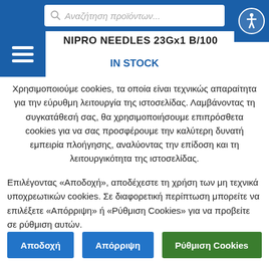Αναζήτηση προϊόντων...
NIPRO NEEDLES 23Gx1 B/100
IN STOCK
Χρησιμοποιούμε cookies, τα οποία είναι τεχνικώς απαραίτητα για την εύρυθμη λειτουργία της ιστοσελίδας. Λαμβάνοντας τη συγκατάθεσή σας, θα χρησιμοποιήσουμε επιπρόσθετα cookies για να σας προσφέρουμε την καλύτερη δυνατή εμπειρία πλοήγησης, αναλύοντας την επίδοση και τη λειτουργικότητα της ιστοσελίδας.
Επιλέγοντας «Αποδοχή», αποδέχεστε τη χρήση των μη τεχνικά υποχρεωτικών cookies. Σε διαφορετική περίπτωση μπορείτε να επιλέξετε «Απόρριψη» ή «Ρύθμιση Cookies» για να προβείτε σε ρύθμιση αυτών.
Αποδοχή
Απόρριψη
Ρύθμιση Cookies